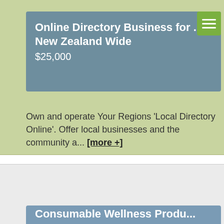Online Directory Business for ... New Zealand Wide
$25,000
Own and operate Your Regions 'Local Directory Online'. Offer local businesses and the community a... [more +]
Consumable Wellness Produ...